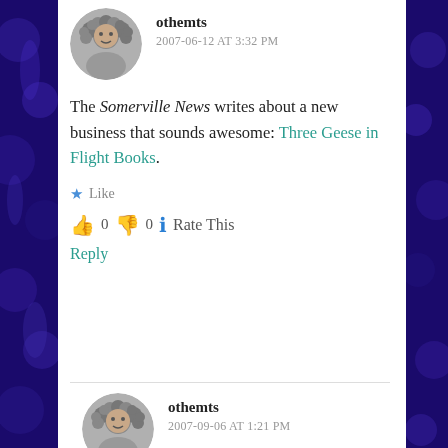[Figure (photo): Round avatar photo of user othemts - person with curly/textured gray hair]
othemts
2007-06-12 AT 3:32 PM
The Somerville News writes about a new business that sounds awesome: Three Geese in Flight Books.
★ Like
👍 0 👎 0 ℹ Rate This
Reply
[Figure (photo): Round avatar photo of user othemts - person with curly/textured gray hair]
othemts
2007-09-06 AT 1:21 PM
Talk about yumminess, Davis Square is getting a